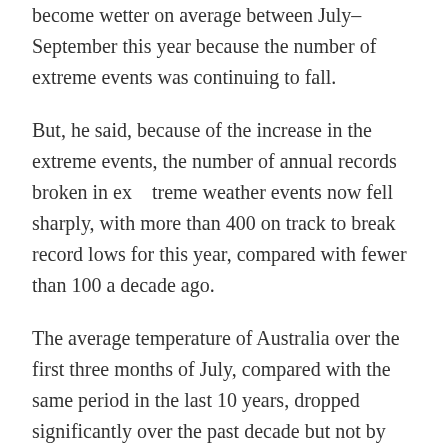become wetter on average between July–September this year because the number of extreme events was continuing to fall.
But, he said, because of the increase in the extreme events, the number of annual records broken in extreme weather events now fell sharply, with more than 400 on track to break record lows for this year, compared with fewer than 100 a decade ago.
The average temperature of Australia over the first three months of July, compared with the same period in the last 10 years, dropped significantly over the past decade but not by much, due to the more significant increase in the number of storms.
“So there has been a much larger drop in the extremes of weather in Australia compared with the long-term average of the previous 10 years,” the CSIRO scientist said. “A